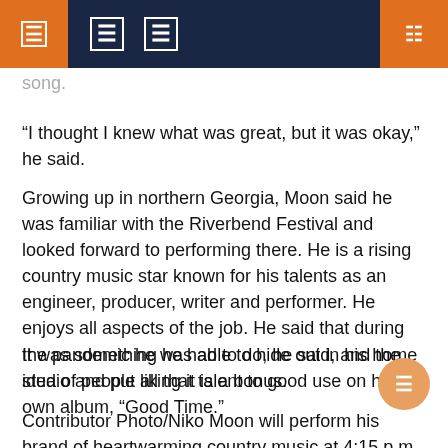Navigation header with menu icons and search
song.
“I thought I knew what was great, but it was okay,” he said.
Growing up in northern Georgia, Moon said he was familiar with the Riverbend Festival and looked forward to performing there. He is a rising country music star known for his talents as an engineer, producer, writer and performer. He enjoys all aspects of the job. He said that during the pandemic he was able to hide out in his home studio and put all that talent to good use on his own album, “Good Time.”
It was something he had to do, he said, and the idea of people liking it is a bonus.
Contributor Photo/Niko Moon will perform his brand of heartwarming country music at 4:15 p.m. Saturday on the